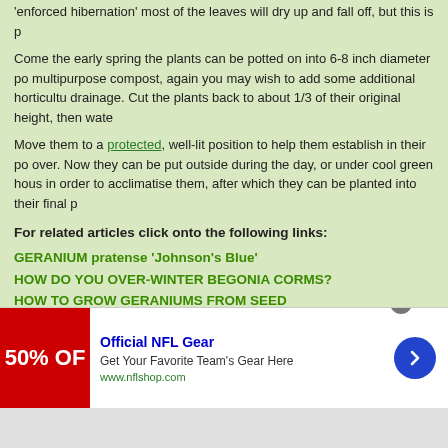'enforced hibernation' most of the leaves will dry up and fall off, but this is p...
Come the early spring the plants can be potted on into 6-8 inch diameter po... multipurpose compost, again you may wish to add some additional horticultu... drainage. Cut the plants back to about 1/3 of their original height, then wate...
Move them to a protected, well-lit position to help them establish in their po... over. Now they can be put outside during the day, or under cool green hous... in order to acclimatise them, after which they can be planted into their final p...
For related articles click onto the following links:
GERANIUM pratense 'Johnson's Blue'
HOW DO YOU OVER-WINTER BEGONIA CORMS?
HOW TO GROW GERANIUMS FROM SEED
HOW TO OVERWINTER BANANA PLANTS
HOW TO OVERWINTER BRUGMANSIA
HOW TO OVERWINTER CANNA LILIES
HOW TO OVERWINTER DAHLIA TUBERS
[Figure (other): Advertisement banner for Official NFL Gear showing 50% OFF promotional red image, blue arrow button, and www.nflshop.com URL]